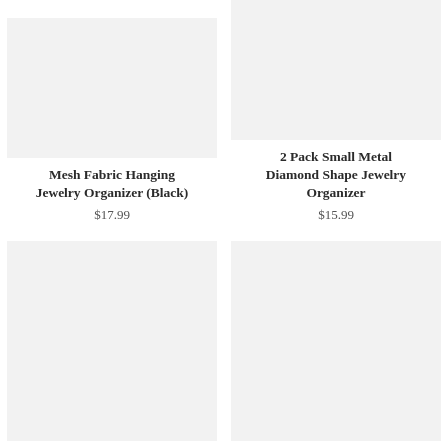[Figure (photo): Product image placeholder for Mesh Fabric Hanging Jewelry Organizer (Black)]
Mesh Fabric Hanging Jewelry Organizer (Black)
$17.99
[Figure (photo): Product image placeholder for 2 Pack Small Metal Diamond Shape Jewelry Organizer]
2 Pack Small Metal Diamond Shape Jewelry Organizer
$15.99
[Figure (photo): Product image placeholder for Walnut Wood Honeycomb Earring Holder]
Walnut Wood Honeycomb Earring Holder
[Figure (photo): Product image placeholder for Beech Wood Honeycomb Earring Holder]
Beech Wood Honeycomb Earring Holder